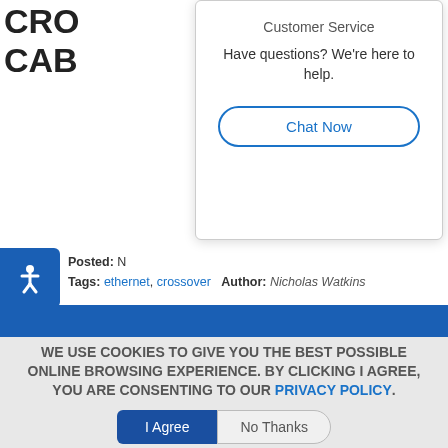CROS CABL
Customer Service
Have questions? We're here to help.
Chat Now
Posted: N   Tags: ethernet, crossover   Author: Nicholas Watkins
WE USE COOKIES TO GIVE YOU THE BEST POSSIBLE ONLINE BROWSING EXPERIENCE. BY CLICKING I AGREE, YOU ARE CONSENTING TO OUR PRIVACY POLICY.
I Agree   No Thanks